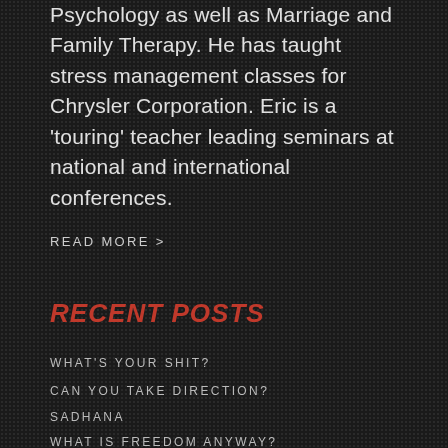Psychology as well as Marriage and Family Therapy. He has taught stress management classes for Chrysler Corporation. Eric is a 'touring' teacher leading seminars at national and international conferences.
READ MORE >
RECENT POSTS
WHAT'S YOUR SHIT?
CAN YOU TAKE DIRECTION?
SADHANA
WHAT IS FREEDOM ANYWAY?
HOW TO KEEP FEAR IN CHECK